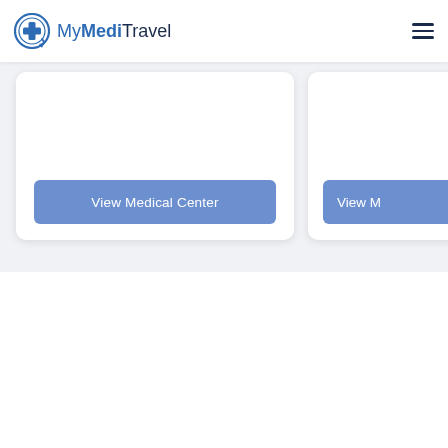[Figure (logo): MyMediTravel logo with blue circular medical cross icon and brand name]
[Figure (other): Hamburger menu icon (three horizontal lines) in top right corner]
View Medical Center
View M